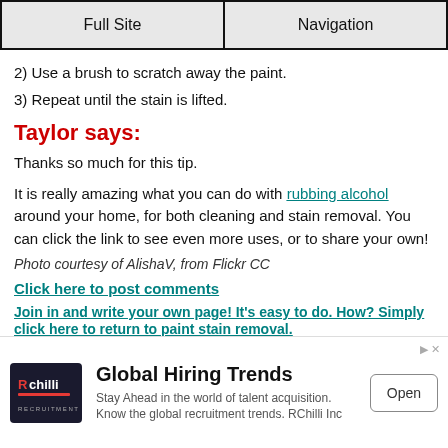Full Site | Navigation
2) Use a brush to scratch away the paint.
3) Repeat until the stain is lifted.
Taylor says:
Thanks so much for this tip.
It is really amazing what you can do with rubbing alcohol around your home, for both cleaning and stain removal. You can click the link to see even more uses, or to share your own!
Photo courtesy of AlishaV, from Flickr CC
Click here to post comments
Join in and write your own page! It's easy to do. How? Simply click here to return to paint stain removal.
[Figure (screenshot): Advertisement banner for RChilli Global Hiring Trends with Open button]